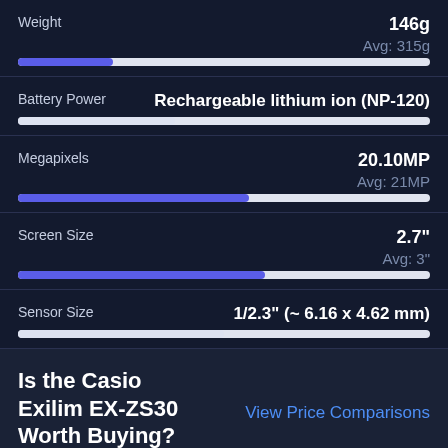Weight
146g
Avg: 315g
[Figure (bar-chart): Weight bar, filled ~23% blue, track white]
Battery Power
Rechargeable lithium ion (NP-120)
[Figure (bar-chart): Battery bar, filled ~38% white]
Megapixels
20.10MP
Avg: 21MP
[Figure (bar-chart): Megapixels bar, filled ~56% blue, track white]
Screen Size
2.7"
Avg: 3"
[Figure (bar-chart): Screen size bar, filled ~60% blue, track white]
Sensor Size
1/2.3" (~ 6.16 x 4.62 mm)
[Figure (bar-chart): Sensor size bar, filled ~50% white]
Is the Casio Exilim EX-ZS30 Worth Buying?
View Price Comparisons